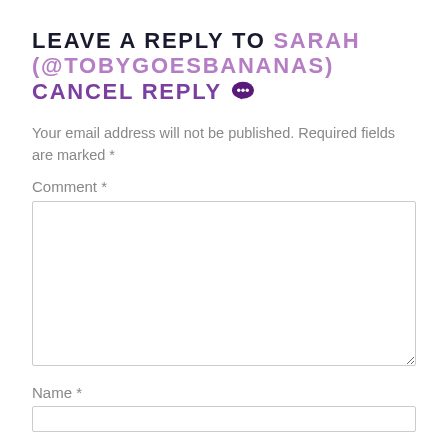LEAVE A REPLY TO SARAH (@TOBYGOESBANANAS) CANCEL REPLY
Your email address will not be published. Required fields are marked *
Comment *
[Figure (other): Comment text area input box]
Name *
[Figure (other): Name text input box]